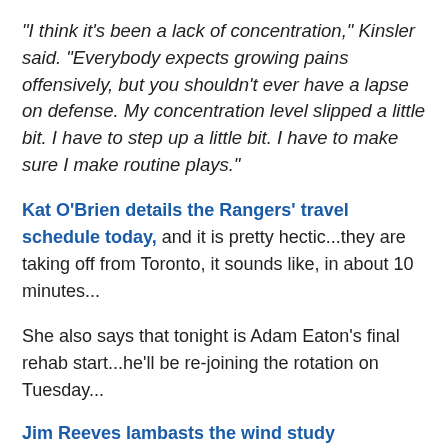"I think it's been a lack of concentration," Kinsler said. "Everybody expects growing pains offensively, but you shouldn't ever have a lapse on defense. My concentration level slipped a little bit. I have to step up a little bit. I have to make sure I make routine plays."
Kat O'Brien details the Rangers' travel schedule today, and it is pretty hectic...they are taking off from Toronto, it sounds like, in about 10 minutes...
She also says that tonight is Adam Eaton's final rehab start...he'll be re-joining the rotation on Tuesday...
Jim Reeves lambasts the wind study commissioned by the Rangers, saying that it is obvious that the Gold Club has caused wind problems, and that the preliminary results being "inconclusive" is